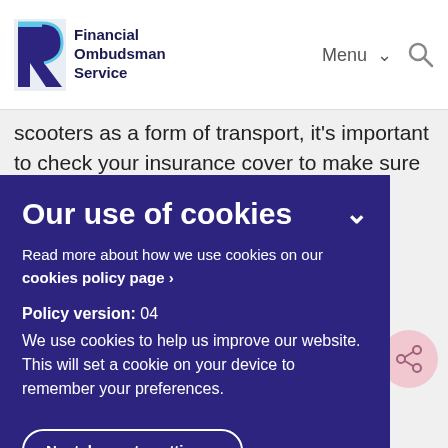Financial Ombudsman Service | Menu | Search
scooters as a form of transport, it's important to check your insurance cover to make sure you're not caught out following an
Our use of cookies
Read more about how we use cookies on our cookies policy page ›
Policy version: 04
We use cookies to help us improve our website. This will set a cookie on your device to remember your preferences.
No, take me to settings ›
Accept and close ›
heck
goes
ance
our
the